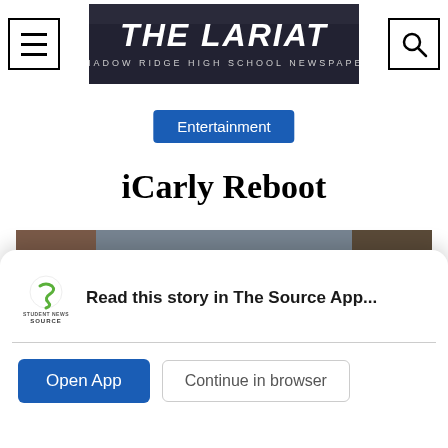THE LARIAT — Shadow Ridge High School Newspaper
Entertainment
iCarly Reboot
[Figure (photo): Cast photo of iCarly reboot showing five cast members posing together in an apartment set]
Read this story in The Source App...
Open App    Continue in browser